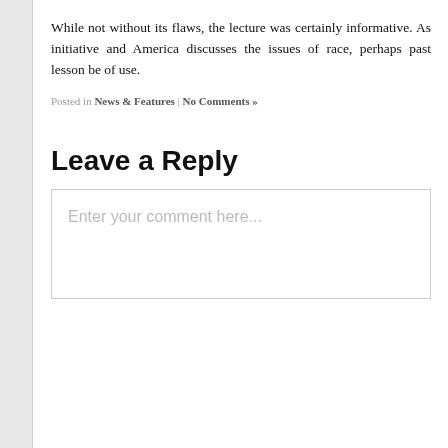While not without its flaws, the lecture was certainly informative. As initiative and America discusses the issues of race, perhaps past lessons be of use.
Posted in News & Features | No Comments »
Leave a Reply
Enter your comment here...